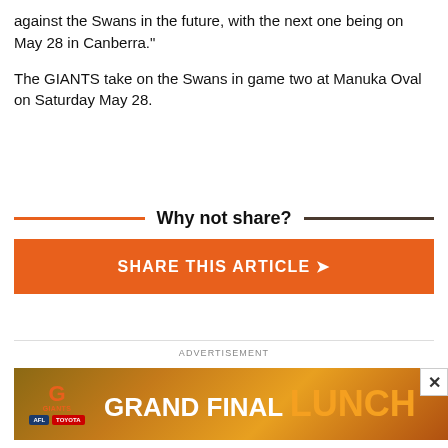against the Swans in the future, with the next one being on May 28 in Canberra."
The GIANTS take on the Swans in game two at Manuka Oval on Saturday May 28.
Why not share?
[Figure (other): Orange button reading SHARE THIS ARTICLE with arrow icon]
[Figure (other): Advertisement banner for Grand Final Lunch featuring GWS Giants, AFL, Toyota logos]
ADVERTISEMENT